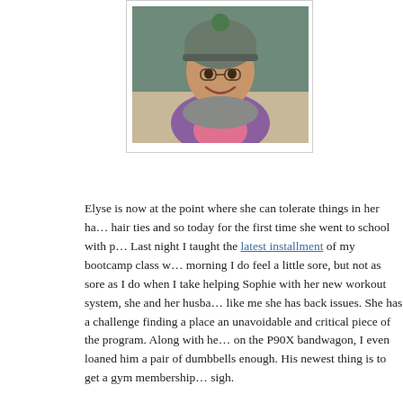[Figure (photo): Photo of a young child wearing a gray/green beanie hat and purple jacket, smiling, displayed in a white bordered frame.]
Elyse is now at the point where she can tolerate things in her hair ties and so today for the first time she went to school with p… Last night I taught the latest installment of my bootcamp class w… morning I do feel a little sore, but not as sore as I do when I take helping Sophie with her new workout system, she and her husba… like me she has back issues. She has a challenge finding a place an unavoidable and critical piece of the program. Along with he… on the P90X bandwagon, I even loaned him a pair of dumbbells enough. His newest thing is to get a gym membership… sigh.
What about the new car? My coworker recently ordered the sam… though his wife gets to drive it every day he loves it. I have to a… committed Jeep driver, this Ford Edge has been the best car I ha… of my beautiful Eagle Talon. It's huge inside, rides really well, h…